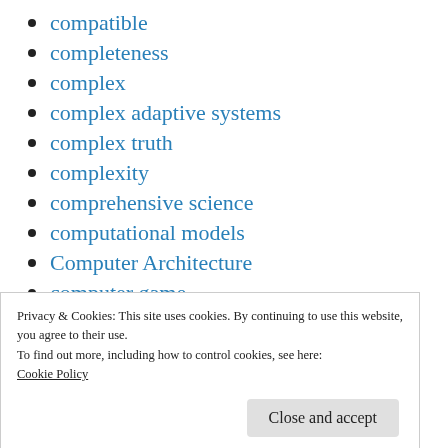compatible
completeness
complex
complex adaptive systems
complex truth
complexity
comprehensive science
computational models
Computer Architecture
computer game
concept
Privacy & Cookies: This site uses cookies. By continuing to use this website, you agree to their use.
To find out more, including how to control cookies, see here:
Cookie Policy
Close and accept
concrete expressions